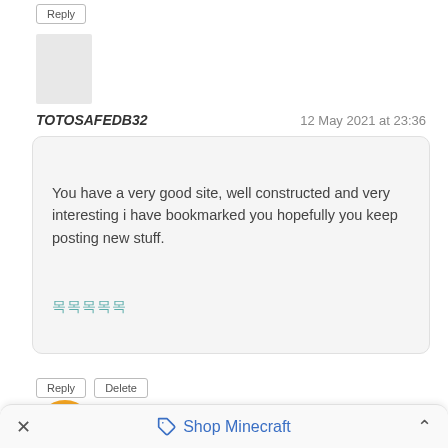Reply
[Figure (illustration): Gray placeholder avatar box for a user profile picture]
TOTOSAFEDB32
12 May 2021 at 23:36
You have a very good site, well constructed and very interesting i have bookmarked you hopefully you keep posting new stuff.
[Korean/Asian characters link]
Reply
Delete
Reply
[Figure (logo): Blogger orange circular logo with white B icon]
Jennet
17 May 2021 at 02:49
Shop Minecraft